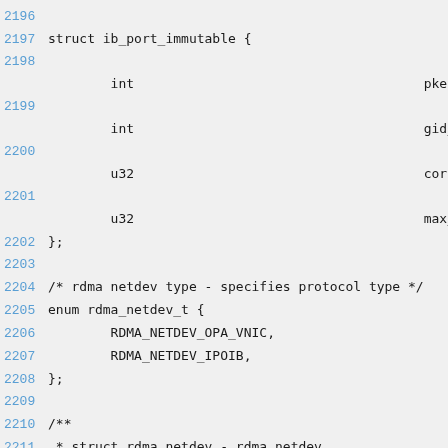Source code listing lines 2196-2215 showing C struct ib_port_immutable, enum rdma_netdev_t, and beginning of struct rdma_netdev definitions